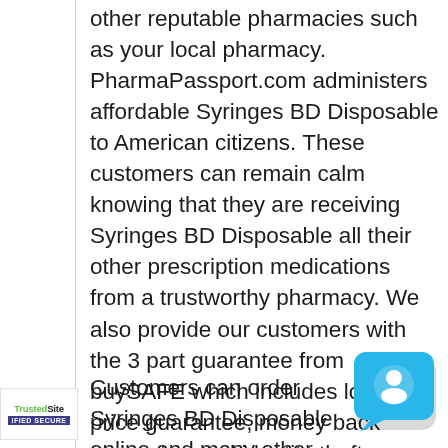we follow the same standards as other reputable pharmacies such as your local pharmacy. PharmaPassport.com administers affordable Syringes BD Disposable to American citizens. These customers can remain calm knowing that they are receiving Syringes BD Disposable all their other prescription medications from a trustworthy pharmacy. We also provide our customers with the 3 part guarantee from buySAFE which includes lowest price guarantee, money back guarantee and identity theft protection.
Customers can order Syringes BD Disposable online and many other quality medications from PharmaPassport.com at an affordable price. This online
[Figure (other): TrustedSite CERTIFIED SECURE badge in bottom-left corner]
[Figure (other): Blue chat bubble/support icon in bottom-right corner]